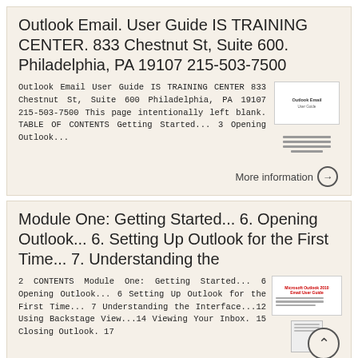Outlook Email. User Guide IS TRAINING CENTER. 833 Chestnut St, Suite 600. Philadelphia, PA 19107 215-503-7500
Outlook Email User Guide IS TRAINING CENTER 833 Chestnut St, Suite 600 Philadelphia, PA 19107 215-503-7500 This page intentionally left blank. TABLE OF CONTENTS Getting Started... 3 Opening Outlook...
More information →
Module One: Getting Started... 6. Opening Outlook... 6. Setting Up Outlook for the First Time... 7. Understanding the
2 CONTENTS Module One: Getting Started... 6 Opening Outlook... 6 Setting Up Outlook for the First Time... 7 Understanding the Interface...12 Using Backstage View...14 Viewing Your Inbox. 15 Closing Outlook. 17